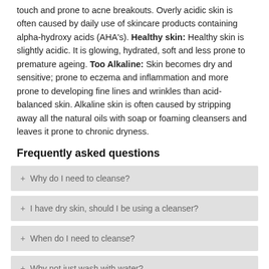touch and prone to acne breakouts. Overly acidic skin is often caused by daily use of skincare products containing alpha-hydroxy acids (AHA's). Healthy skin: Healthy skin is slightly acidic. It is glowing, hydrated, soft and less prone to premature ageing. Too Alkaline: Skin becomes dry and sensitive; prone to eczema and inflammation and more prone to developing fine lines and wrinkles than acid-balanced skin. Alkaline skin is often caused by stripping away all the natural oils with soap or foaming cleansers and leaves it prone to chronic dryness.
Frequently asked questions
+ Why do I need to cleanse?
+ I have dry skin, should I be using a cleanser?
+ When do I need to cleanse?
+ Why not just wash with water?